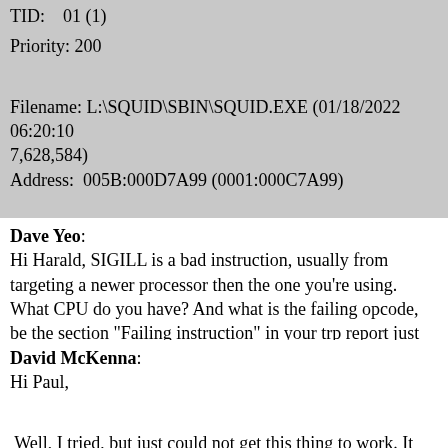TID:    01 (1)
Priority: 200

Filename: L:\SQUID\SBIN\SQUID.EXE (01/18/2022 06:20:10 7,628,584)
Address:  005B:000D7A99 (0001:000C7A99)

So may be some hint on the requirements would be useful :-)

Best, Harald
Dave Yeo: Hi Harald, SIGILL is a bad instruction, usually from targeting a newer processor then the one you're using. What CPU do you have? And what is the failing opcode, be the section "Failing instruction" in your trp report just below the part you quoted.
David McKenna: Hi Paul,

Well, I tried, but just could not get this thing to work. It seems to run OK, except for some errors in the log file (attached), but doesn't add anything to the access log. SeaMonkey just hangs forever if I set it up to use squid, but confess I may not understand how to set it up properly - instructions on the net are all for Windows and Linux and do not seem even remotely related to this